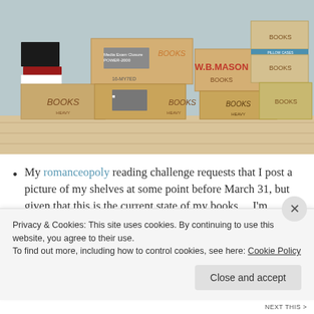[Figure (photo): A photo of many cardboard boxes stacked together, most labeled 'BOOKS' in handwriting or print. A W.B. Mason branded box is visible. Boxes are stacked on a light wood floor against a light blue-gray wall.]
My romanceopoly reading challenge requests that I post a picture of my shelves at some point before March 31, but given that this is the current state of my books… I'm calling this good enough. I actually realized today that there's a
Privacy & Cookies: This site uses cookies. By continuing to use this website, you agree to their use.
To find out more, including how to control cookies, see here: Cookie Policy
Close and accept